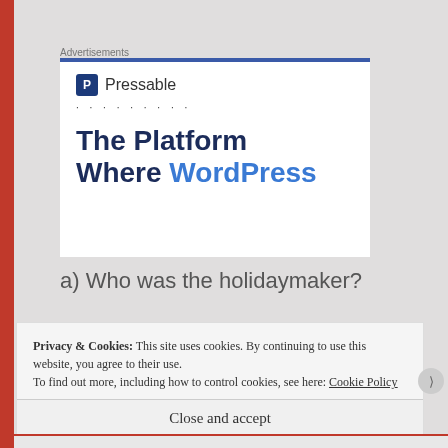Advertisements
[Figure (screenshot): Pressable advertisement banner showing logo with shield icon, dotted line, and headline text 'The Platform Where WordPress' in dark and blue colors on white background with blue top border]
a) Who was the holidaymaker?
Privacy & Cookies: This site uses cookies. By continuing to use this website, you agree to their use.
To find out more, including how to control cookies, see here: Cookie Policy
Close and accept